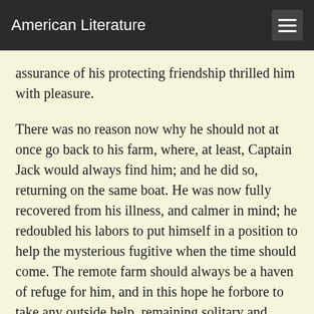American Literature
assurance of his protecting friendship thrilled him with pleasure.
There was no reason now why he should not at once go back to his farm, where, at least, Captain Jack would always find him; and he did so, returning on the same boat. He was now fully recovered from his illness, and calmer in mind; he redoubled his labors to put himself in a position to help the mysterious fugitive when the time should come. The remote farm should always be a haven of refuge for him, and in this hope he forbore to take any outside help, remaining solitary and alone, that Captain Jack's retreat should be inviolate. And so the long